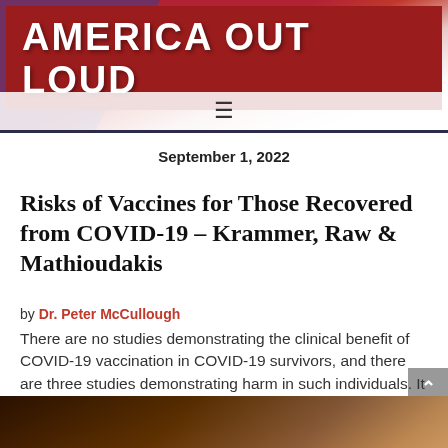AMERICA OUT LOUD
September 1, 2022
Risks of Vaccines for Those Recovered from COVID-19 – Krammer, Raw & Mathioudakis
by Dr. Peter McCullough
There are no studies demonstrating the clinical benefit of COVID-19 vaccination in COVID-19 survivors, and there are three studies demonstrating harm in such individuals. It is my opinion that SARS-CoV-2 causes an infection in humans that results in robust, complete, and durable immunity, and is superior to vaccine immunity which by
[Figure (photo): Partial bottom image strip showing a warm-toned photo, likely related to vaccines or medical topic]